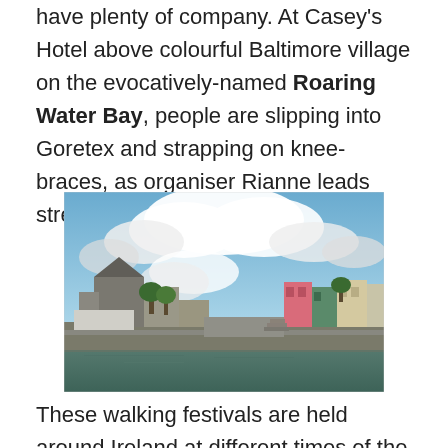have plenty of company. At Casey's Hotel above colourful Baltimore village on the evocatively-named Roaring Water Bay, people are slipping into Goretex and strapping on knee-braces, as organiser Rianne leads stretching exercises.
[Figure (photo): A harbour town with colourful buildings along the waterfront, stone quay walls, calm green water in the foreground, and large white cumulus clouds in a blue sky above.]
These walking festivals are held around Ireland at different times of the year. They're great community events,